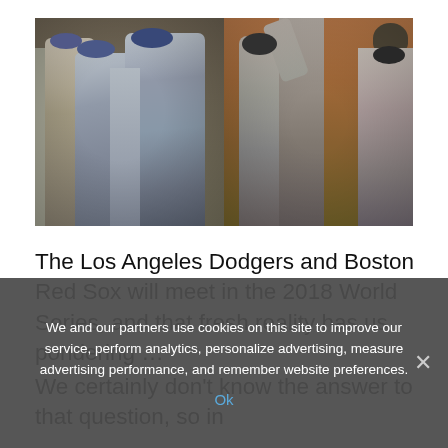[Figure (photo): Two side-by-side baseball photos: left shows Los Angeles Dodgers players in gray/blue uniforms celebrating on field; right shows Boston Red Sox players celebrating, one jumping with catcher's gear, crowd in orange in background.]
The Los Angeles Dodgers and Boston Red Sox will meet in the 2018 World Series, and that fresh reality has us pondering …
We certainly don't know the answer to that question, so in
We and our partners use cookies on this site to improve our service, perform analytics, personalize advertising, measure advertising performance, and remember website preferences.
Ok